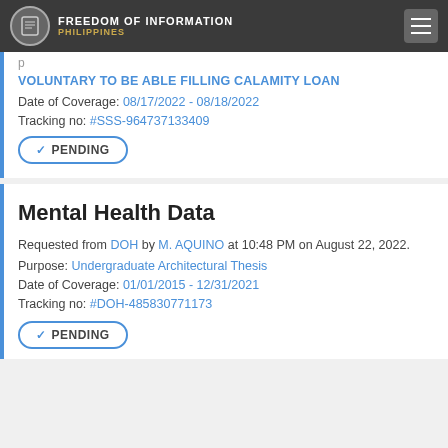FREEDOM OF INFORMATION PHILIPPINES
VOLUNTARY TO BE ABLE FILLING CALAMITY LOAN
Date of Coverage: 08/17/2022 - 08/18/2022
Tracking no: #SSS-964737133409
✓ PENDING
Mental Health Data
Requested from DOH by M. AQUINO at 10:48 PM on August 22, 2022.
Purpose: Undergraduate Architectural Thesis
Date of Coverage: 01/01/2015 - 12/31/2021
Tracking no: #DOH-485830771173
✓ PENDING